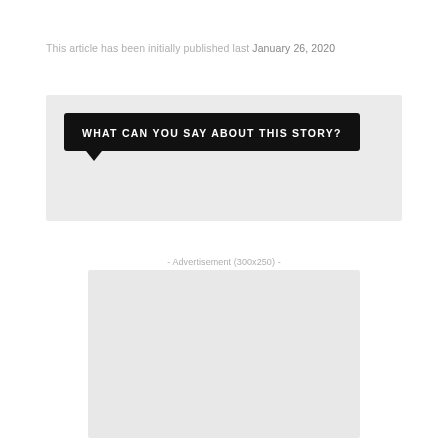This article has been initially published last January 26, 2020
[Figure (other): Speech bubble widget with text 'WHAT CAN YOU SAY ABOUT THIS STORY?' on a light gray background panel]
- Advertisement (300x250) -
[Figure (other): Empty advertisement placeholder box (300x250)]